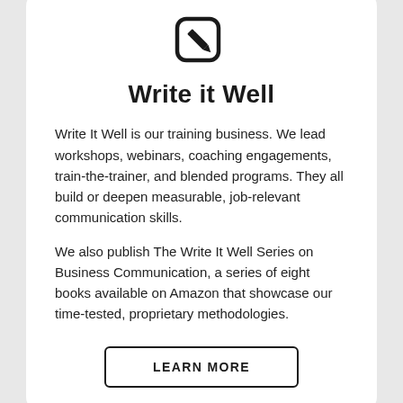[Figure (illustration): Edit/write icon: a rounded square outline with a pencil overlaid in the bottom-right corner, black on white]
Write it Well
Write It Well is our training business. We lead workshops, webinars, coaching engagements, train-the-trainer, and blended programs. They all build or deepen measurable, job-relevant communication skills.
We also publish The Write It Well Series on Business Communication, a series of eight books available on Amazon that showcase our time-tested, proprietary methodologies.
LEARN MORE